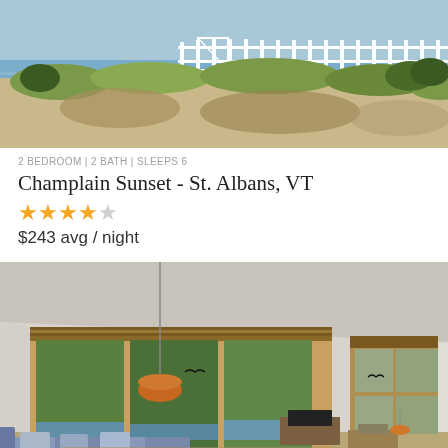[Figure (photo): Outdoor view of a coastal property with grassy land, sandy beach area, white picket fence along the waterfront, and blue water/sky in the background.]
2 BEDROOM | 2 BATH | SLEEPS 6
Champlain Sunset - St. Albans, VT
★★★★☆
$243 avg / night
[Figure (photo): Interior living room with large wood-framed windows overlooking trees and water, bamboo blinds, a living area with blue sofas, an orange pendant lamp, and a small TV stand.]